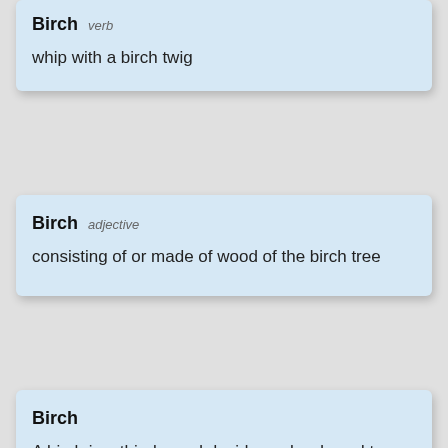Birch  verb
whip with a birch twig
Birch  adjective
consisting of or made of wood of the birch tree
Birch
A birch is a thin-leaved deciduous hardwood tree of the genus Betula (), in the family Betulaceae, which also includes alders, hazels, and hornbeams. It is closely related